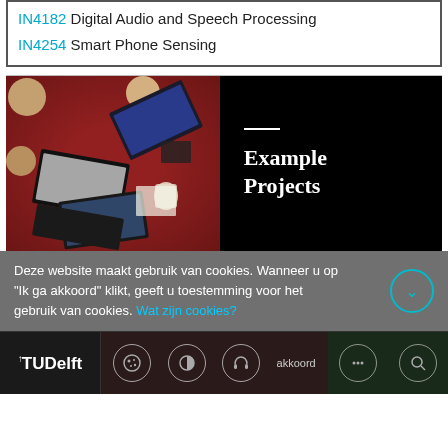IN4182 Digital Audio and Speech Processing
IN4254 Smart Phone Sensing
[Figure (photo): Overhead view of students working on laptops around a red/maroon table]
Example Projects
Deze website maakt gebruik van cookies. Wanneer u op "Ik ga akkoord" klikt, geeft u toestemming voor het gebruik van cookies. Wat zijn cookies?
TUDelft footer with cookie, contrast, audio, text, and search icons